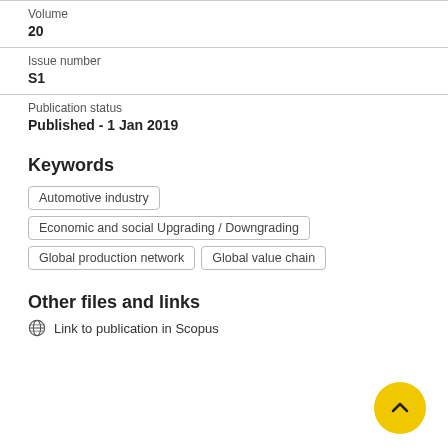Volume
20
Issue number
S1
Publication status
Published - 1 Jan 2019
Keywords
Automotive industry
Economic and social Upgrading / Downgrading
Global production network
Global value chain
Other files and links
Link to publication in Scopus